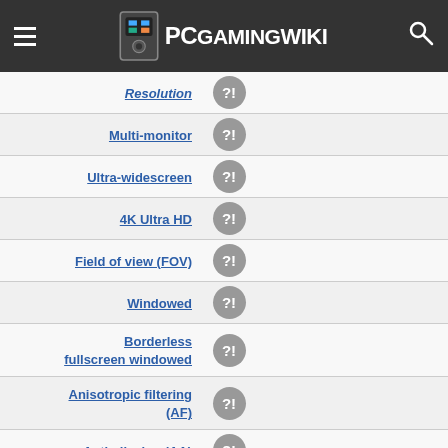PCGamingWiki
| Feature | Status | Notes |
| --- | --- | --- |
| Resolution | ?! |  |
| Multi-monitor | ?! |  |
| Ultra-widescreen | ?! |  |
| 4K Ultra HD | ?! |  |
| Field of view (FOV) | ?! |  |
| Windowed | ?! |  |
| Borderless fullscreen windowed | ?! |  |
| Anisotropic filtering (AF) | ?! |  |
| Anti-aliasing (AA) | ?! |  |
| Vertical sync (Vsync) | ?! |  |
| 60 FPS and 120+ FPS | ?! |  |